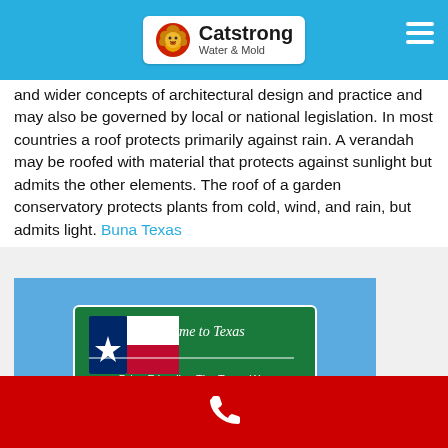Catstrong Water & Mold
and wider concepts of architectural design and practice and may also be governed by local or national legislation. In most countries a roof protects primarily against rain. A verandah may be roofed with material that protects against sunlight but admits the other elements. The roof of a garden conservatory protects plants from cold, wind, and rain, but admits light. Buna Texas
[Figure (photo): A green highway road sign reading 'Welcome to Texas' with the Texas state flag and text 'Drive Friendly - The Texas Way', set against a blue sky with a highway overpass visible in the background.]
Phone contact bar with phone icon